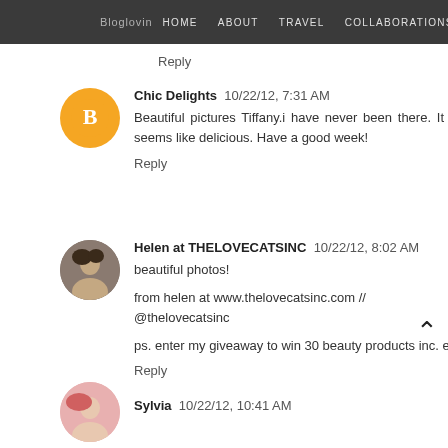Bloglovin  HOME  ABOUT  TRAVEL  COLLABORATIONS
Reply
Chic Delights  10/22/12, 7:31 AM
Beautiful pictures Tiffany.i have never been there. It seems like delicious. Have a good week!
Reply
Helen at THELOVECATSINC  10/22/12, 8:02 AM
beautiful photos!

from helen at www.thelovecatsinc.com // @thelovecatsinc

ps. enter my giveaway to win 30 beauty products inc. essie and m
Reply
Sylvia  10/22/12, 10:41 AM